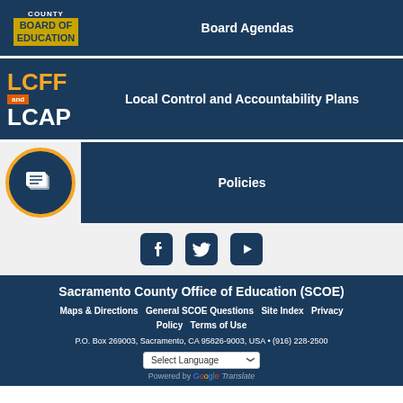[Figure (logo): County Board of Education logo with yellow banner]
Board Agendas
[Figure (logo): LCFF and LCAP logo]
Local Control and Accountability Plans
[Figure (illustration): Documents icon in circle for Policies]
Policies
[Figure (infographic): Social media icons: Facebook, Twitter, YouTube]
Sacramento County Office of Education (SCOE)
Maps & Directions   General SCOE Questions   Site Index   Privacy Policy   Terms of Use
P.O. Box 269003, Sacramento, CA 95826-9003, USA • (916) 228-2500
Select Language
Powered by Google Translate